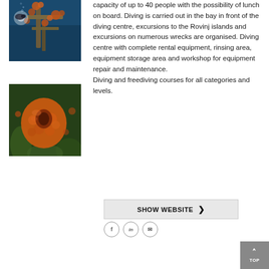[Figure (photo): Underwater photo of a scuba diver near a coral-encrusted shipwreck structure with blue water]
[Figure (photo): Close-up underwater photo of an orange sea sponge and marine organisms on a reef]
capacity of up to 40 people with the possibility of lunch on board. Diving is carried out in the bay in front of the diving centre, excursions to the Rovinj islands and excursions on numerous wrecks are organised. Diving centre with complete rental equipment, rinsing area, equipment storage area and workshop for equipment repair and maintenance. Diving and freediving courses for all categories and levels.
SHOW WEBSITE ›
f  IG  ✉